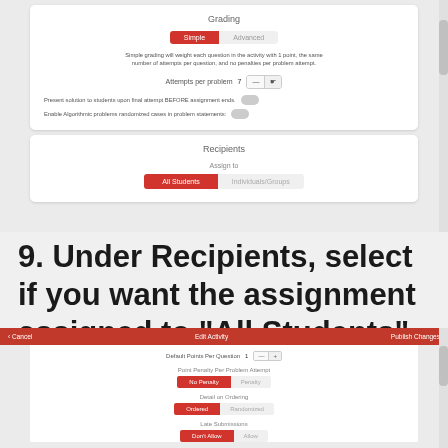[Figure (screenshot): Screenshot of a learning management system showing Grading settings with Simple/Advanced toggle, Attempts per problem field set to 7, toggles for showing solutions and enabling algorithmic problems, and Recipients section with All Students/Individuals Groups toggle]
9. Under Recipients, select if you want the assignment assigned to "All Students" or "Individuals/ Groups."
[Figure (screenshot): Screenshot of Edit Activity page showing Default Points Per Question, Point Penalty Per Problem Attempt with No Penalty/Penalty toggle, Detail on Ordering with Ordered/Randomized toggle, and Late Submissions with Don't Allow/Allow toggle]